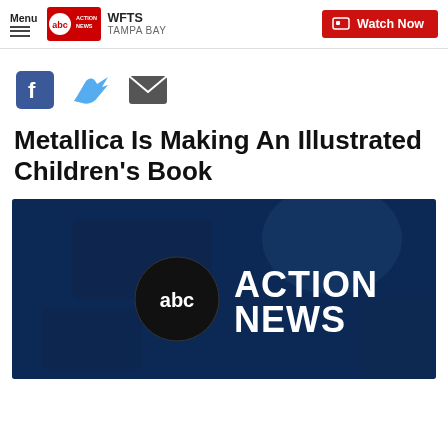Menu | abc ACTION NEWS WFTS TAMPA BAY | Watch Now
[Figure (infographic): Social sharing icons: Facebook (blue square with f), Twitter (light blue bird), Email (dark grey envelope)]
Metallica Is Making An Illustrated Children's Book
[Figure (screenshot): ABC Action News video thumbnail — dark blue background with camera equipment silhouette, white circle ABC logo and white bold text 'ACTION NEWS']